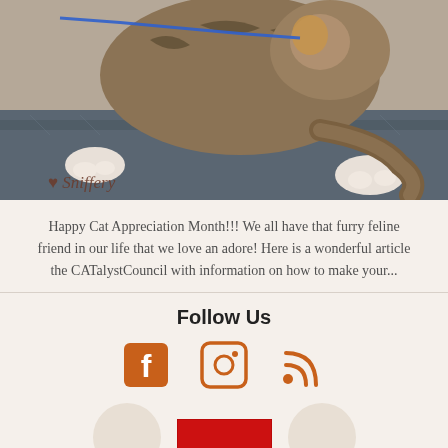[Figure (photo): A tabby cat lying on a dark blue/grey padded surface with a blue leash, with 'Sniffery' heart logo watermark in bottom left corner]
Happy Cat Appreciation Month!!! We all have that furry feline friend in our life that we love an adore! Here is a wonderful article the CATalystCouncil with information on how to make your...
Follow Us
[Figure (illustration): Social media icons: Facebook, Instagram, RSS feed icons in orange/rust color]
[Figure (logo): Partial red logo at bottom of page]